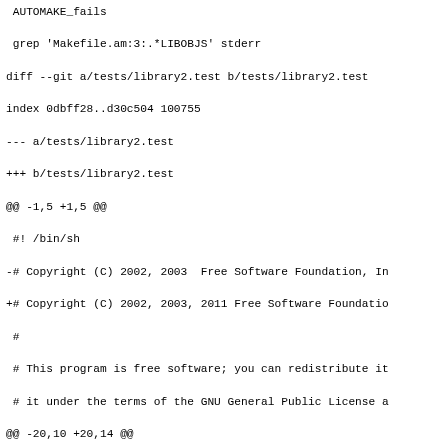AUTOMAKE_fails
 grep 'Makefile.am:3:.*LIBOBJS' stderr
diff --git a/tests/library2.test b/tests/library2.test
index 0dbff28..d30c504 100755
--- a/tests/library2.test
+++ b/tests/library2.test
@@ -1,5 +1,5 @@
 #! /bin/sh
-# Copyright (C) 2002, 2003  Free Software Foundation, In
+# Copyright (C) 2002, 2003, 2011 Free Software Foundatio
 #
 # This program is free software; you can redistribute it
 # it under the terms of the GNU General Public License a
@@ -20,10 +20,14 @@

 set -e

+cat >> configure.in << 'END'
+AC_PROG_CC
+END
+
 cat > Makefile.am << 'END'
 EXTRA_LIBRARIES = libfoo.a
 END

 $ACLOCAL
-AUTOMAKE_fails
+AUTOMAKE_fails -Wno-portability
 grep AC_PROG_RANLIB stderr
diff --git a/tests/parse.test b/tests/parse.test